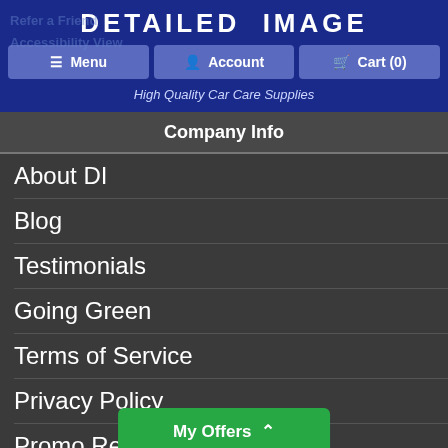DETAILED IMAGE
Menu | Account | Cart (0) | High Quality Car Care Supplies
Company Info
About DI
Blog
Testimonials
Going Green
Terms of Service
Privacy Policy
Promo Restrictions
Site Map
Pure Adapt, In
My Offers ^